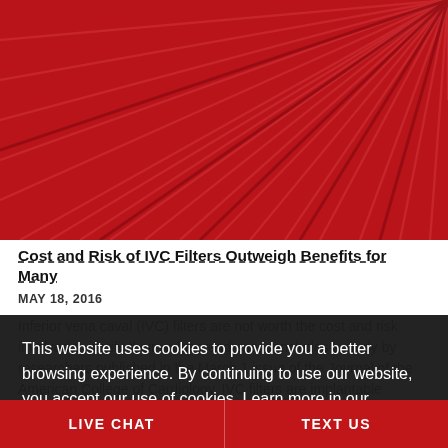[Figure (photo): Abstract close-up of dark red/crimson metallic lines radiating outward on a red background, likely representing an IVC filter device]
Cost and Risk of IVC Filters Outweigh Benefits for Many
MAY 18, 2016
Inferior vena caval (IVC) filters are not worth the cost and risk involved to justify their widespread use, concludes a study by researchers published in the March 1 issue of the Journal of the American College of Cardiology. IVC filters are implantable devices placed in the vena cava artery to temporarily prevent pulmonary embolism — a condition in which blood flow is blocked by air or blood clots. The...
This website uses cookies to provide you a better browsing experience. By continuing to use our website, you accept our use of cookies. Learn more in our Privacy Policy.
I understand